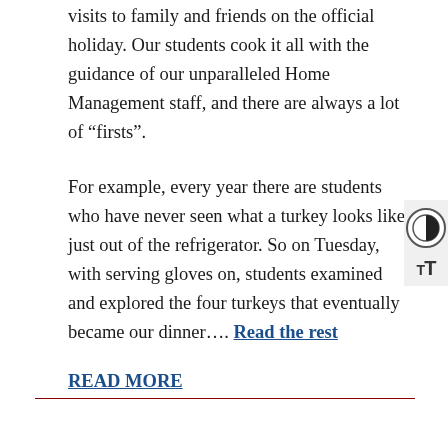visits to family and friends on the official holiday. Our students cook it all with the guidance of our unparalleled Home Management staff, and there are always a lot of “firsts”.
For example, every year there are students who have never seen what a turkey looks like just out of the refrigerator. So on Tuesday, with serving gloves on, students examined and explored the four turkeys that eventually became our dinner…. Read the rest
READ MORE